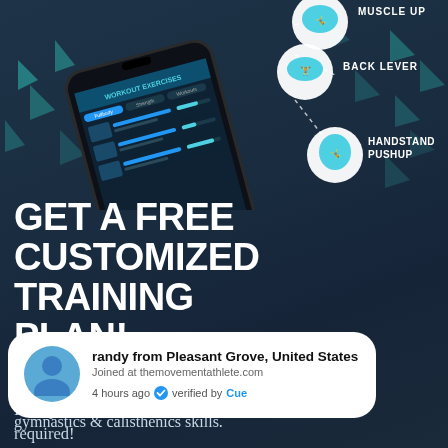[Figure (infographic): App screenshot of workout exercises displayed on a smartphone, with circular callouts showing fitness exercises: Muscle Up, Back Lever, Handstand Pushup, connected by dotted lines. Dark blue background with teal triangle decorations.]
GET A FREE CUSTOMIZED TRAINING PLAN!
Start your life-changing journey with calisthenics and get lean, strong and mobile while unlocking and mastering over 100 new gymnastics & calisthenics skills.
randy from Pleasant Grove, United States
Joined at themovementathlete.com
4 hours ago ✓ verified by Cue
It only takes 5 minutes, and no credit card is required!